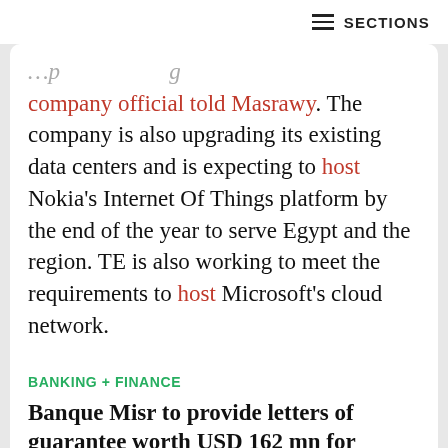SECTIONS
company official told Masrawy. The company is also upgrading its existing data centers and is expecting to host Nokia's Internet Of Things platform by the end of the year to serve Egypt and the region. TE is also working to meet the requirements to host Microsoft's cloud network.
[Figure (infographic): Social share buttons row: email (grey), Twitter (blue), LinkedIn (blue), Facebook (dark blue), WhatsApp (green), link/copy (dark grey)]
BANKING + FINANCE
Banque Misr to provide letters of guarantee worth USD 162 mn for Orascom Construction and Arab